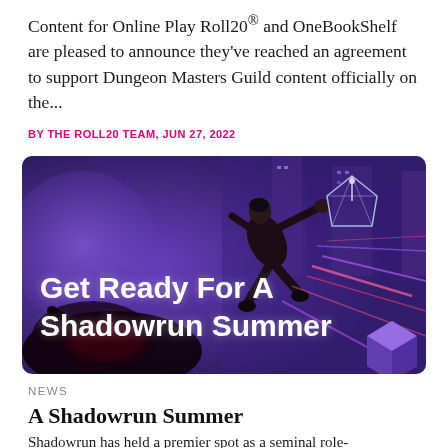Content for Online Play Roll20® and OneBookShelf are pleased to announce they've reached an agreement to support Dungeon Masters Guild content officially on the...
BY THE ROLL20 TEAM, JUN 27, 2022
[Figure (illustration): Promotional banner image for Shadowrun Summer featuring a cyberpunk character leaping in action with purple and blue tones, overlaid text reading 'Get Ready For A Shadowrun Summer' and a Roll20 logo cube in the bottom right.]
NEWS
A Shadowrun Summer
Shadowrun has held a premier spot as a seminal role-